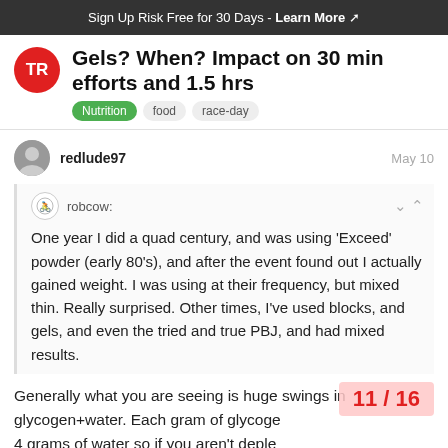Sign Up Risk Free for 30 Days - Learn More
Gels? When? Impact on 30 min efforts and 1.5 hrs
Nutrition  food  race-day
redlude97  May 10
robcow: One year I did a quad century, and was using 'Exceed' powder (early 80's), and after the event found out I actually gained weight. I was using at their frequency, but mixed thin. Really surprised. Other times, I've used blocks, and gels, and even the tried and true PBJ, and had mixed results.
Generally what you are seeing is huge swings in glycogen+water. Each gram of glycoge... 4 grams of water so if you aren't deple...
11 / 16